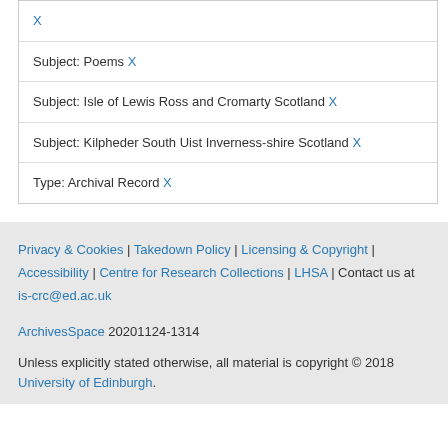X
Subject: Poems X
Subject: Isle of Lewis Ross and Cromarty Scotland X
Subject: Kilpheder South Uist Inverness-shire Scotland X
Type: Archival Record X
Privacy & Cookies | Takedown Policy | Licensing & Copyright | Accessibility | Centre for Research Collections | LHSA | Contact us at is-crc@ed.ac.uk
ArchivesSpace 20201124-1314
Unless explicitly stated otherwise, all material is copyright © 2018 University of Edinburgh.